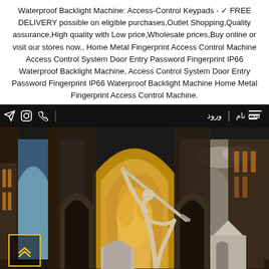Waterproof Backlight Machine: Access-Control Keypads - ✓ FREE DELIVERY possible on eligible purchases,Outlet Shopping,Quality assurance,High quality with Low price,Wholesale prices,Buy online or visit our stores now., Home Metal Fingerprint Access Control Machine Access Control System Door Entry Password Fingerprint IP66 Waterproof Backlight Machine, Access Control System Door Entry Password Fingerprint IP66 Waterproof Backlight Machine Home Metal Fingerprint Access Control Machine.
[Figure (screenshot): Website screenshot showing a dark-themed navigation bar with Persian text (ورود | ثبت نام) on the right and icons (Telegram, Instagram, phone) on the left, above an illustrated architectural scene depicting Islamic/Persian-style buildings with arched doorways, golden dome arch, and stylized human figure with sword. A yellow-outlined scroll-to-top button with double chevrons is visible in the bottom-left corner.]